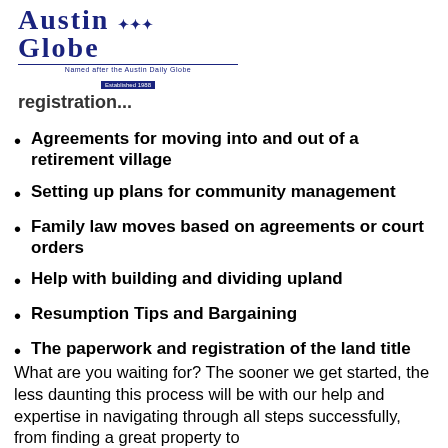[Figure (logo): Austin Globe newspaper logo in dark blue with ornate lettering, subtitle 'Named after the Austin Daily Globe', established date box]
registration...
Agreements for moving into and out of a retirement village
Setting up plans for community management
Family law moves based on agreements or court orders
Help with building and dividing upland
Resumption Tips and Bargaining
The paperwork and registration of the land title
What are you waiting for? The sooner we get started, the less daunting this process will be with our help and expertise in navigating through all steps successfully, from finding a great property to